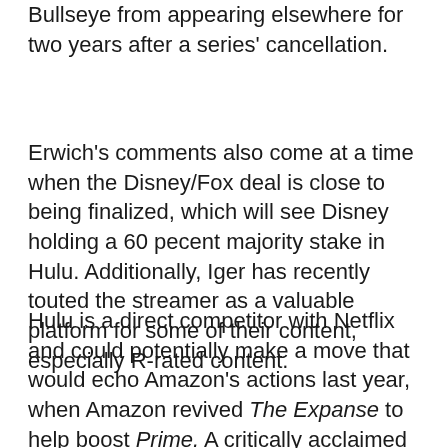Bullseye from appearing elsewhere for two years after a series' cancellation.
Erwich's comments also come at a time when the Disney/Fox deal is close to being finalized, which will see Disney holding a 60 pecent majority stake in Hulu. Additionally, Iger has recently touted the streamer as a valuable platform for some of their content, especially R-rated content.
Hulu is a direct competitor with Netflix and could potentially make a move that would echo Amazon's actions last year, when Amazon revived The Expanse to help boost Prime. A critically acclaimed series such as Daredevil would certainly help increase the strength and profitability of